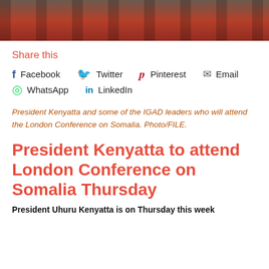[Figure (photo): Photo strip showing people in formal attire on a red background, partial view of legs and lower bodies]
Share this
Facebook
Twitter
Pinterest
Email
WhatsApp
LinkedIn
President Kenyatta and some of the IGAD leaders who will attend the London Conference on Somalia. Photo/FILE.
President Kenyatta to attend London Conference on Somalia Thursday
President Uhuru Kenyatta is on Thursday this week